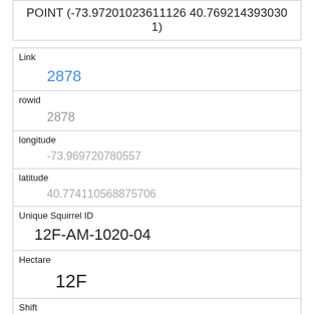POINT (-73.97201023611126 40.769214393030​1)
| Field | Value |
| --- | --- |
| Link | 2878 |
| rowid | 2878 |
| longitude | -73.969720780557 |
| latitude | 40.774110568875706 |
| Unique Squirrel ID | 12F-AM-1020-04 |
| Hectare | 12F |
| Shift | AM |
| Date | 10202018 |
| Hectare Squirrel Number | 4 |
| Age |  |